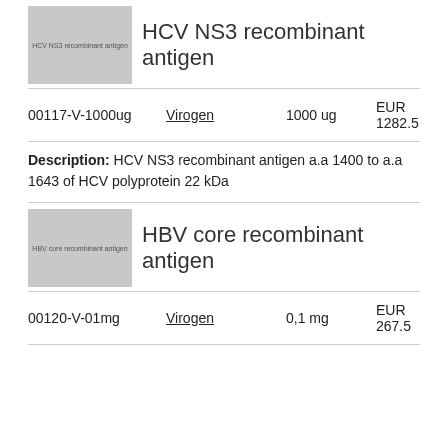[Figure (photo): Placeholder image for HCV NS3 recombinant antigen product]
HCV NS3 recombinant antigen
00117-V-1000ug    Virogen    1000 ug    EUR 1282.5
Description: HCV NS3 recombinant antigen a.a 1400 to a.a 1643 of HCV polyprotein 22 kDa
[Figure (photo): Placeholder image for HBV core recombinant antigen product]
HBV core recombinant antigen
00120-V-01mg    Virogen    0,1 mg    EUR 267.5